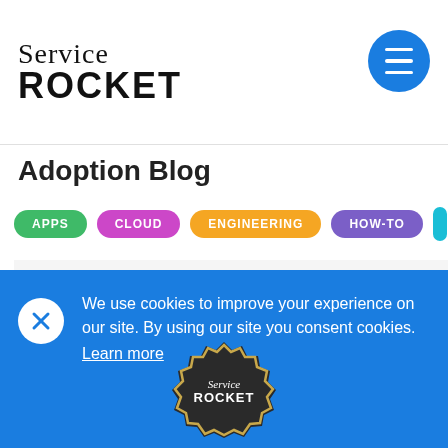[Figure (logo): Service Rocket logo — stylized text with 'Service' in serif italic and 'ROCKET' in bold sans-serif uppercase]
[Figure (other): Blue circular hamburger menu button with three white horizontal lines]
Adoption Blog
APPS
CLOUD
ENGINEERING
HOW-TO
We've got your back.
[Figure (logo): Service Rocket badge/seal logo in dark circular shape with gold border]
We use cookies to improve your experience on our site. By using our site you consent cookies. Learn more